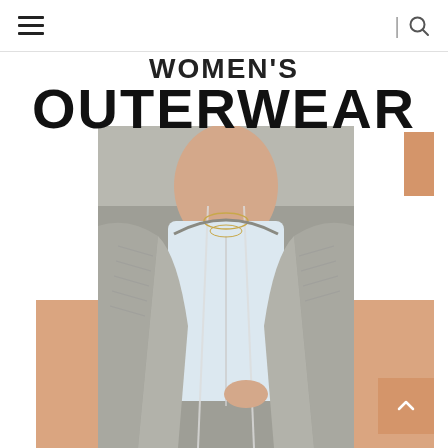Women's Outerwear — navigation bar with hamburger menu and search icon
WOMEN'S OUTERWEAR
[Figure (photo): Woman wearing a grey ribbed knit zip-up hoodie cardigan over a white tank top with layered gold necklaces, styled with black pants. Decorative tan/orange rectangular accent blocks visible in the background corners.]
[Figure (infographic): Back-to-top button: orange square with upward chevron arrow, bottom right corner]